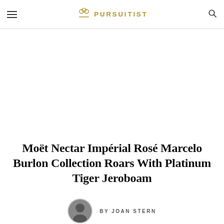PURSUITIST
[Figure (other): White banner/advertisement area]
Moët Nectar Impérial Rosé Marcelo Burlon Collection Roars With Platinum Tiger Jeroboam
BY JOAN STERN